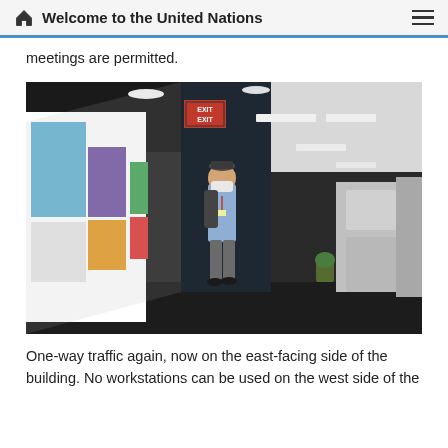Welcome to the United Nations
meetings are permitted.
[Figure (photo): A person wearing a face mask and backpack walking down a long corridor with colorful office doors on the left side and office equipment on the right side. An EXIT sign is visible overhead. The hallway has a modern office building interior.]
One-way traffic again, now on the east-facing side of the building. No workstations can be used on the west side of the